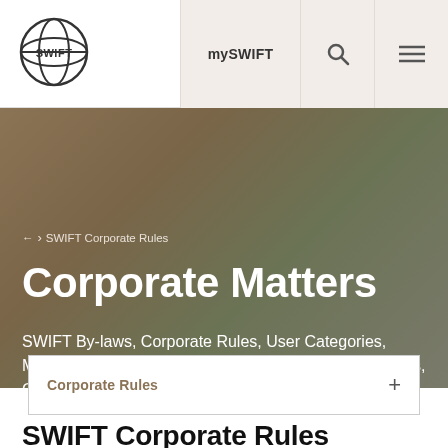mySWIFT
← › SWIFT Corporate Rules
Corporate Matters
SWIFT By-laws, Corporate Rules, User Categories, Membership Validation Process. Information for Vendors, Customers and interested parties
Corporate Rules
SWIFT Corporate Rules